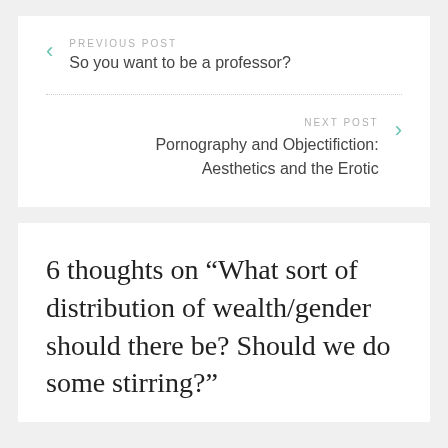PREVIOUS POST
So you want to be a professor?
NEXT POST
Pornography and Objectifiction: Aesthetics and the Erotic
6 thoughts on “What sort of distribution of wealth/gender should there be? Should we do some stirring?”